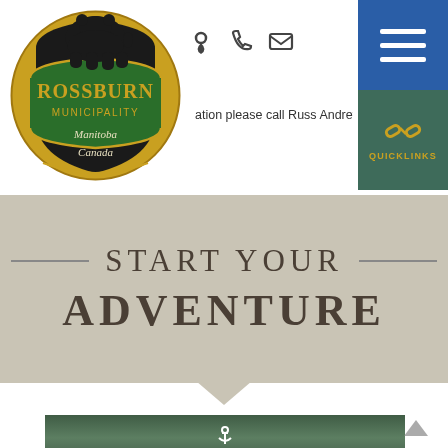[Figure (logo): Rossburn Municipality logo — circular gold/black/green badge with black bear silhouette, text ROSSBURN MUNICIPALITY, Manitoba Canada]
[Figure (screenshot): Navigation icons: location pin, phone, envelope]
[Figure (screenshot): Blue hamburger menu button top right]
[Figure (screenshot): Teal/green QUICKLINKS button with chain link icon]
ation please call Russ Andrew
START YOUR ADVENTURE
[Figure (photo): Forest/nature scene thumbnail with anchor icon overlay, partially visible at bottom of page]